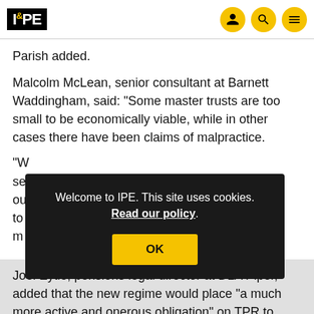IPE
Parish added.
Malcolm McLean, senior consultant at Barnett Waddingham, said: "Some master trusts are too small to be economically viable, while in other cases there have been claims of malpractice.
"W... se... ou... to... m..." (partially obscured by cookie banner)
Welcome to IPE. This site uses cookies. Read our policy.
OK
Joel Eytle, pensions legal director at DLA Piper, added that the new regime would place "a much more active and onerous obligation" on TPR to oversee